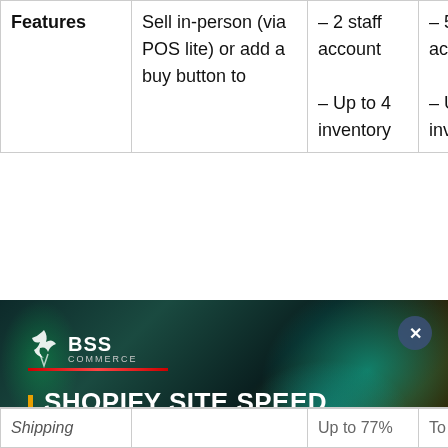|  |  |  |  |
| --- | --- | --- | --- |
| Features | Sell in-person (via POS lite) or add a buy button to | – 2 staff account
– Up to 4 inventory | – 5 staff account
– Up to 5 inventory |
[Figure (screenshot): Advertisement overlay for BSS Commerce: 'Shopify Site Speed Optimization Checklist – Download Your Free Copy Now!' with a blurred car background, yellow download button, and chat widget.]
| Shipping |  | Up to 77% | To 88% |